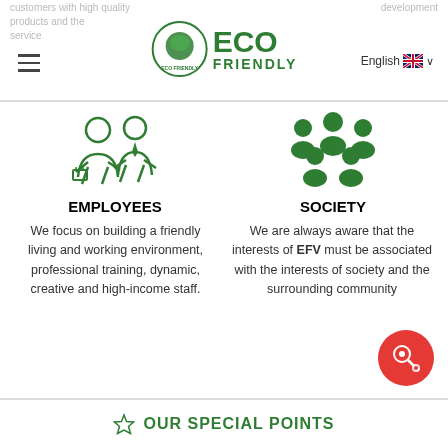ECO FRIENDLY
[Figure (illustration): Green icon of two people (employees) - man and woman with briefcase]
EMPLOYEES
We focus on building a friendly living and working environment, professional training, dynamic, creative and high-income staff.
[Figure (illustration): Green icon of a group of people representing society/community]
SOCIETY
We are always aware that the interests of EFV must be associated with the interests of society and the surrounding community
OUR SPECIAL POINTS